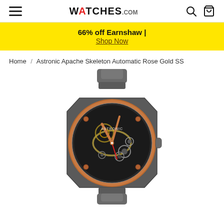WATCHES.COM
66% off Earnshaw | Shop Now
Home / Astronic Apache Skeleton Automatic Rose Gold SS
[Figure (photo): Astronic Apache Skeleton Automatic Rose Gold SS watch with dark gunmetal case, rose gold bezel, skeleton dial showing movement, and steel bracelet.]